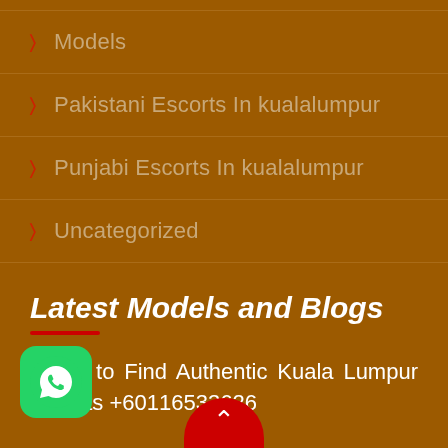Models
Pakistani Escorts In kualalumpur
Punjabi Escorts In kualalumpur
Uncategorized
Latest Models and Blogs
Steps to Find Authentic Kuala Lumpur Escorts +60116533626